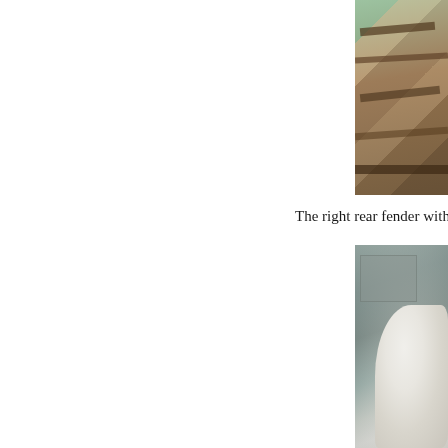[Figure (photo): Photograph of wooden framing or structure, partially cropped, showing wood planks and boards, with green foliage visible in the upper right corner.]
The right rear fender with
[Figure (photo): Photograph of a white/light-colored car fender (right rear), showing the smooth curved surface of the fender against a gray garage/workshop background with shelving visible.]